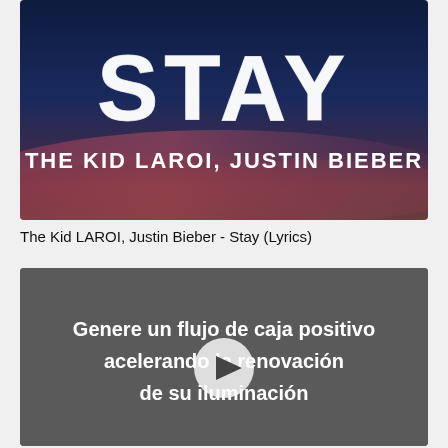[Figure (screenshot): Music video thumbnail for 'STAY' by The Kid LAROI and Justin Bieber. Dark blue and purple sky background with large white grunge-style text 'STAY' and subtitle 'THE KID LAROI, JUSTIN BIEBER']
The Kid LAROI, Justin Bieber - Stay (Lyrics)
[Figure (screenshot): Dark grey video thumbnail with white bold text reading 'Genere un flujo de caja positivo acelerando la renovación de su iluminación' with a play button overlay in the center]